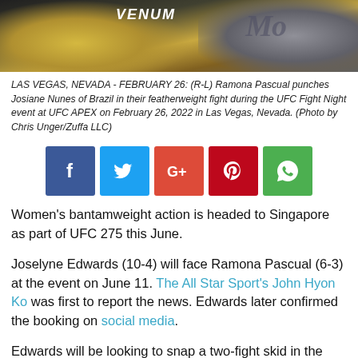[Figure (photo): Photo of two female UFC fighters, one wearing a Venum jersey, during a featherweight fight at UFC APEX]
LAS VEGAS, NEVADA - FEBRUARY 26: (R-L) Ramona Pascual punches Josiane Nunes of Brazil in their featherweight fight during the UFC Fight Night event at UFC APEX on February 26, 2022 in Las Vegas, Nevada. (Photo by Chris Unger/Zuffa LLC)
[Figure (infographic): Social media share buttons: Facebook, Twitter, Google+, Pinterest, WhatsApp]
Women's bantamweight action is headed to Singapore as part of UFC 275 this June.
Joselyne Edwards (10-4) will face Ramona Pascual (6-3) at the event on June 11. The All Star Sport's John Hyon Ko was first to report the news. Edwards later confirmed the booking on social media.
Edwards will be looking to snap a two-fight skid in the fight.